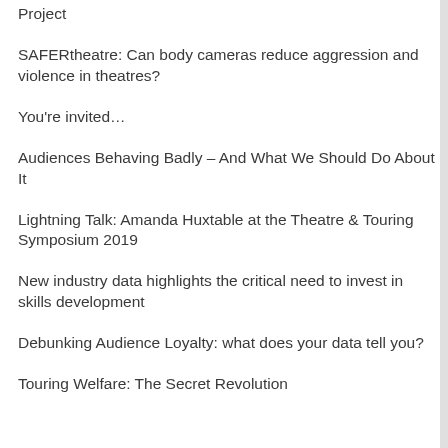Project
SAFERtheatre: Can body cameras reduce aggression and violence in theatres?
You're invited…
Audiences Behaving Badly – And What We Should Do About It
Lightning Talk: Amanda Huxtable at the Theatre & Touring Symposium 2019
New industry data highlights the critical need to invest in skills development
Debunking Audience Loyalty: what does your data tell you?
Touring Welfare: The Secret Revolution